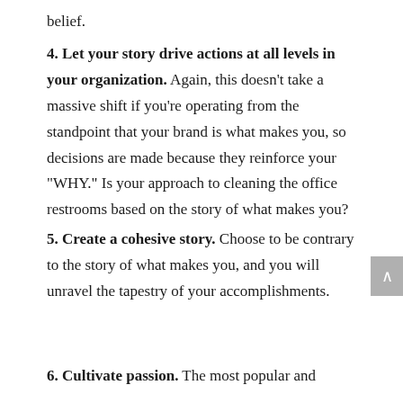belief.
4. Let your story drive actions at all levels in your organization. Again, this doesn't take a massive shift if you're operating from the standpoint that your brand is what makes you, so decisions are made because they reinforce your "WHY." Is your approach to cleaning the office restrooms based on the story of what makes you?
5. Create a cohesive story. Choose to be contrary to the story of what makes you, and you will unravel the tapestry of your accomplishments.
6. Cultivate passion. The most popular and